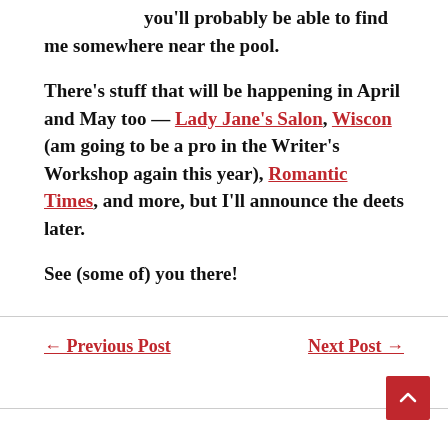you'll probably be able to find me somewhere near the pool.
There's stuff that will be happening in April and May too — Lady Jane's Salon, Wiscon (am going to be a pro in the Writer's Workshop again this year), Romantic Times, and more, but I'll announce the deets later.
See (some of) you there!
← Previous Post    Next Post →